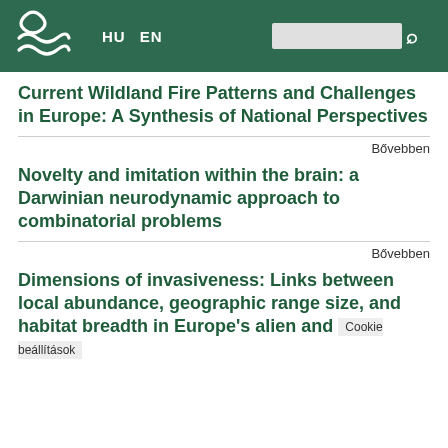HU EN [search bar] [logo]
Current Wildland Fire Patterns and Challenges in Europe: A Synthesis of National Perspectives
Bővebben
Novelty and imitation within the brain: a Darwinian neurodynamic approach to combinatorial problems
Bővebben
Dimensions of invasiveness: Links between local abundance, geographic range size, and habitat breadth in Europe's alien and
Cookie beállítások